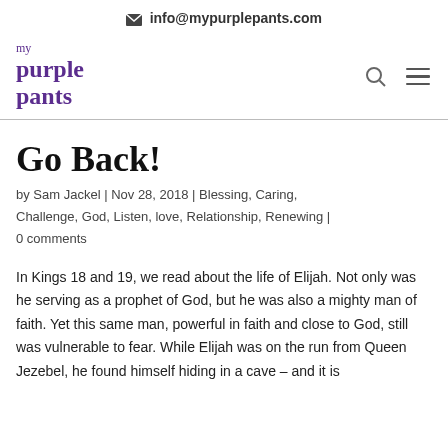✉ info@mypurplepants.com
[Figure (logo): my purple pants logo in purple serif font with search icon and hamburger menu icon]
Go Back!
by Sam Jackel | Nov 28, 2018 | Blessing, Caring, Challenge, God, Listen, love, Relationship, Renewing | 0 comments
In Kings 18 and 19, we read about the life of Elijah. Not only was he serving as a prophet of God, but he was also a mighty man of faith. Yet this same man, powerful in faith and close to God, still was vulnerable to fear. While Elijah was on the run from Queen Jezebel, he found himself hiding in a cave – and it is